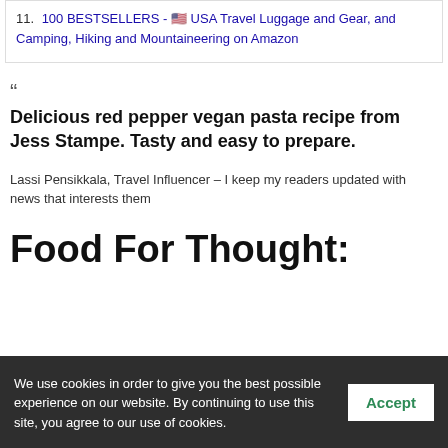11. 100 BESTSELLERS - 🇺🇸 USA Travel Luggage and Gear, and Camping, Hiking and Mountaineering on Amazon
“
Delicious red pepper vegan pasta recipe from Jess Stampe. Tasty and easy to prepare.
Lassi Pensikkala, Travel Influencer – I keep my readers updated with news that interests them
Food For Thought:
We use cookies in order to give you the best possible experience on our website. By continuing to use this site, you agree to our use of cookies.